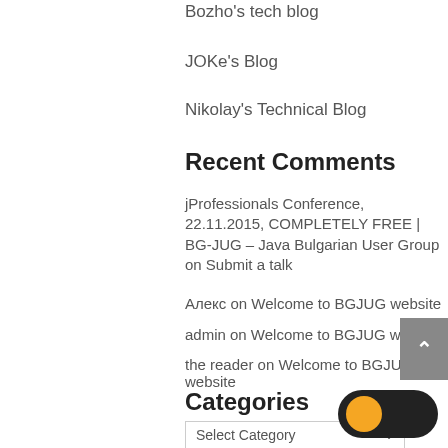Bozho's tech blog
JOKe's Blog
Nikolay's Technical Blog
Recent Comments
jProfessionals Conference, 22.11.2015, COMPLETELY FREE | BG-JUG – Java Bulgarian User Group on Submit a talk
Алекс on Welcome to BGJUG website
admin on Welcome to BGJUG website
the reader on Welcome to BGJUG website
Categories
Select Category
Archives